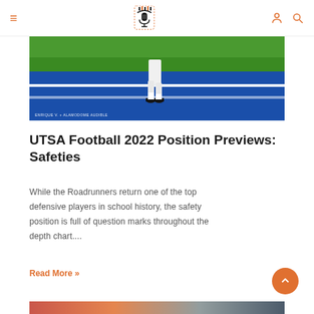Menu | [Logo: Alamodome Audible Podcast] | User icon | Search icon
[Figure (photo): Football player legs on blue artificial turf field with white yard lines. Green grass visible at top. Photo credit: ENRIQUE V. + ALAMODOME AUDIBLE]
UTSA Football 2022 Position Previews: Safeties
While the Roadrunners return one of the top defensive players in school history, the safety position is full of question marks throughout the depth chart....
Read More »